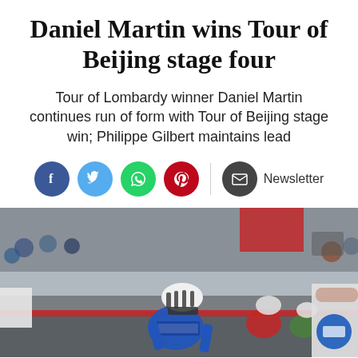Daniel Martin wins Tour of Beijing stage four
Tour of Lombardy winner Daniel Martin continues run of form with Tour of Beijing stage win; Philippe Gilbert maintains lead
[Figure (other): Social media sharing icons: Facebook (blue), Twitter (light blue), WhatsApp (green), Pinterest (red), Email/Newsletter (dark grey) with Newsletter text label]
[Figure (photo): Cyclist Daniel Martin in blue Garmin team kit sprinting across finish line at Tour of Beijing, with other cyclists and crowds in background]